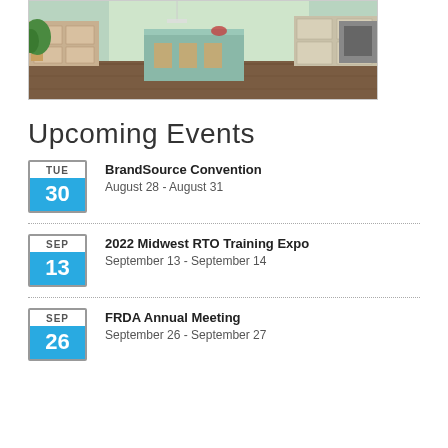[Figure (photo): Kitchen interior photo showing a modern kitchen with light wood cabinets, a green island with seating, chairs, and large windows with greenery outside.]
Upcoming Events
BrandSource Convention - August 28 - August 31, TUE 30
2022 Midwest RTO Training Expo - September 13 - September 14, SEP 13
FRDA Annual Meeting - September 26 - September 27, SEP 26